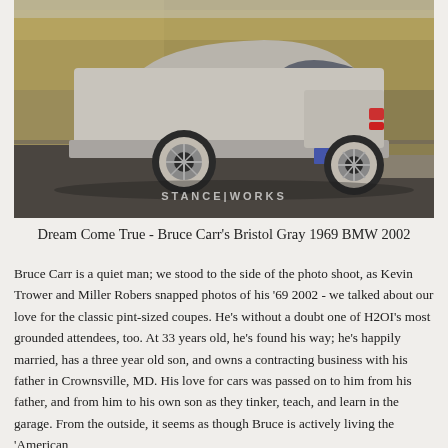[Figure (photo): Rear three-quarter view of a silver/Bristol Gray 1969 BMW 2002 parked on a road with tall dry grass/reeds in the background. The car has BBS-style wheels and a blue license plate reading EC 1172. A STANCE|WORKS watermark appears in the lower center of the photo.]
Dream Come True - Bruce Carr's Bristol Gray 1969 BMW 2002
Bruce Carr is a quiet man; we stood to the side of the photo shoot, as Kevin Trower and Miller Robers snapped photos of his '69 2002 - we talked about our love for the classic pint-sized coupes. He's without a doubt one of H2OI's most grounded attendees, too. At 33 years old, he's found his way; he's happily married, has a three year old son, and owns a contracting business with his father in Crownsville, MD. His love for cars was passed on to him from his father, and from him to his own son as they tinker, teach, and learn in the garage. From the outside, it seems as though Bruce is actively living the 'American